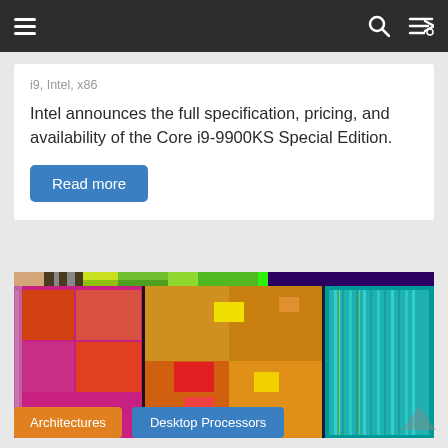≡  🔍  ⇄
i9, Intel, x86
Intel announces the full specification, pricing, and availability of the Core i9-9900KS Special Edition.
Read more
[Figure (photo): Colorful die shot of an Intel processor chip showing CPU cores in red/orange/yellow hues and memory/IO sections in teal/cyan, with small green and purple sections at the top.]
Architectures  Desktop Processors